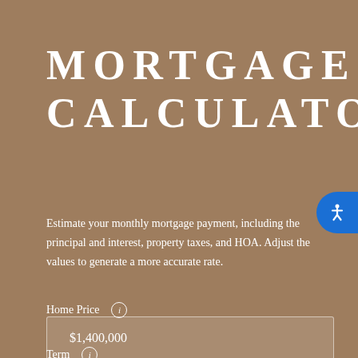MORTGAGE CALCULATOR
Estimate your monthly mortgage payment, including the principal and interest, property taxes, and HOA. Adjust the values to generate a more accurate rate.
Home Price
$1,400,000
Term